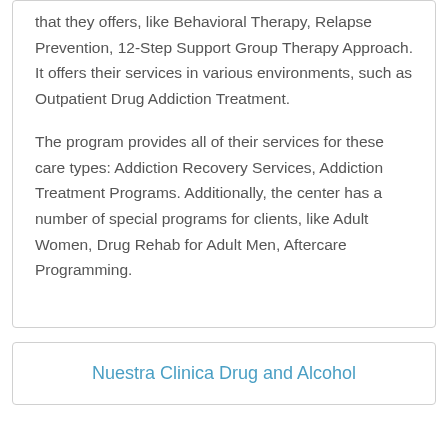that they offers, like Behavioral Therapy, Relapse Prevention, 12-Step Support Group Therapy Approach. It offers their services in various environments, such as Outpatient Drug Addiction Treatment.
The program provides all of their services for these care types: Addiction Recovery Services, Addiction Treatment Programs. Additionally, the center has a number of special programs for clients, like Adult Women, Drug Rehab for Adult Men, Aftercare Programming.
Nuestra Clinica Drug and Alcohol